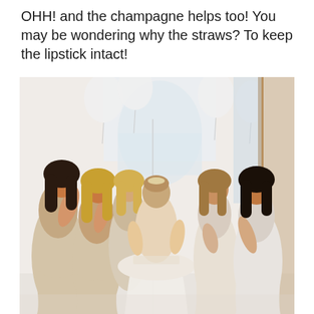OHH! and the champagne helps too! You may be wondering why the straws? To keep the lipstick intact!
[Figure (photo): A bride in a white wedding gown stands in the center while several bridesmaids in champagne/cream off-shoulder dresses surround her, helping her get dressed. White balloons decorate the bright room in the background.]